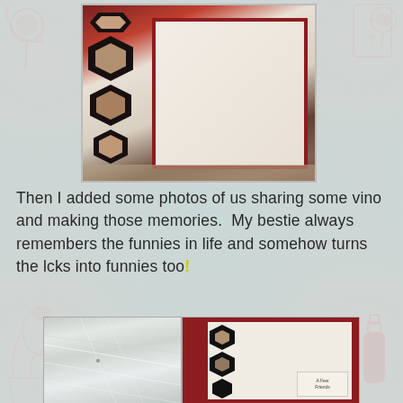[Figure (photo): Photo of a handmade scrapbook card with dark ornamental lattice shapes on the left side and a white card panel with dark red/burgundy border, viewed at an angle on a surface.]
Then I added some photos of us sharing some vino and making those memories.  My bestie always remembers the funnies in life and somehow turns the lcks into funnies too!
[Figure (photo): Two side-by-side photos: left shows a reflective silver surface with spider-web-like lines; right shows a close-up of the handmade card with dark ornamental shapes and photos inserted, and a small label reading 'A Few Good Friends' visible at the bottom right.]